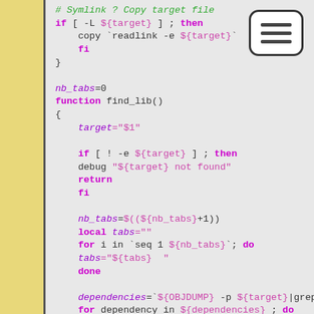[Figure (screenshot): Shell script code snippet showing symlink copy logic and find_lib() function with variable assignments, conditionals, loops, and dependency resolution using OBJDUMP]